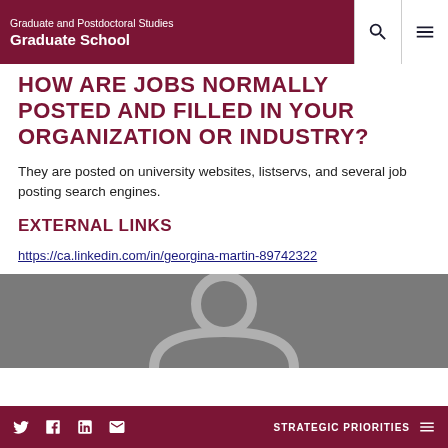Graduate and Postdoctoral Studies
Graduate School
HOW ARE JOBS NORMALLY POSTED AND FILLED IN YOUR ORGANIZATION OR INDUSTRY?
They are posted on university websites, listservs, and several job posting search engines.
EXTERNAL LINKS
https://ca.linkedin.com/in/georgina-martin-89742322
[Figure (illustration): Grey banner with a person/user silhouette icon in lighter grey]
Twitter, Facebook, LinkedIn, Email icons | STRATEGIC PRIORITIES menu